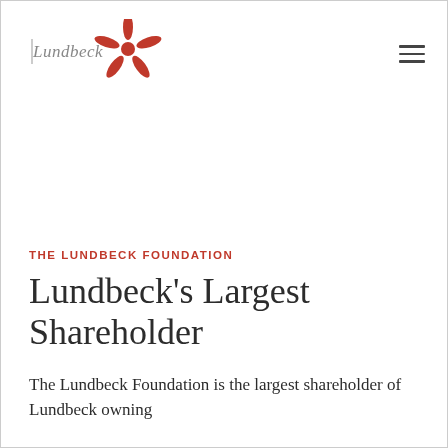[Figure (logo): Lundbeck logo with stylized text 'Lundbeck' and an orange-red starfish icon]
THE LUNDBECK FOUNDATION
Lundbeck's Largest Shareholder
The Lundbeck Foundation is the largest shareholder of Lundbeck owning